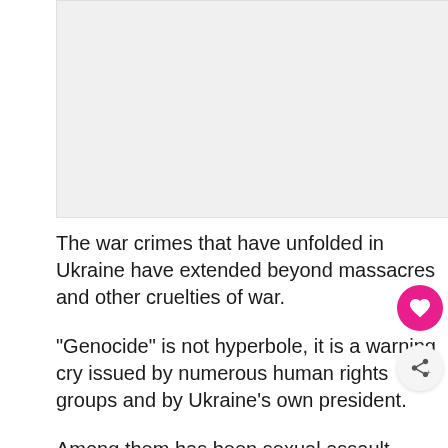[Figure (photo): Image placeholder - light gray rectangular image area at top of page]
The war crimes that have unfolded in Ukraine have extended beyond massacres and other cruelties of war.
"Genocide" is not hyperbole, it is a warning cry issued by numerous human rights groups and by Ukraine's own president.
Among them has been sexual assault inflicted by